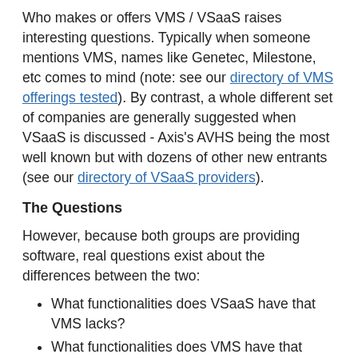Who makes or offers VMS / VSaaS raises interesting questions. Typically when someone mentions VMS, names like Genetec, Milestone, etc comes to mind (note: see our directory of VMS offerings tested). By contrast, a whole different set of companies are generally suggested when VSaaS is discussed - Axis's AVHS being the most well known but with dozens of other new entrants (see our directory of VSaaS providers).
The Questions
However, because both groups are providing software, real questions exist about the differences between the two:
What functionalities does VSaaS have that VMS lacks?
What functionalities does VMS have that VSaaS lacks?